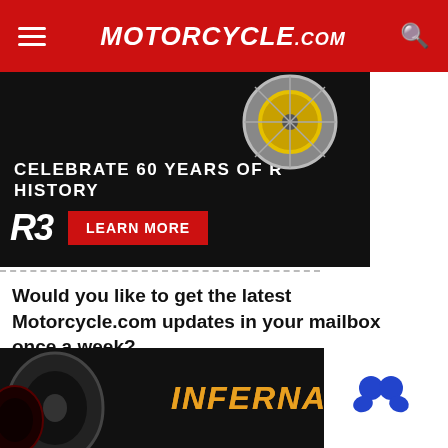Motorcycle.com
[Figure (photo): Yamaha R3 advertisement banner: 'Celebrate 60 Years of R History' with R3 logo and 'Learn More' button on dark background with motorcycle wheel]
Would you like to get the latest Motorcycle.com updates in your mailbox once a week?
[Figure (screenshot): Email subscription form with 'Enter Your Email' input field and red 'Subscribe' button]
[Figure (photo): Bottom advertisement showing motorcycle tires and 'INFERNAL GRIP' text in orange on dark background, with a white box overlay on the right side containing a blue icon]